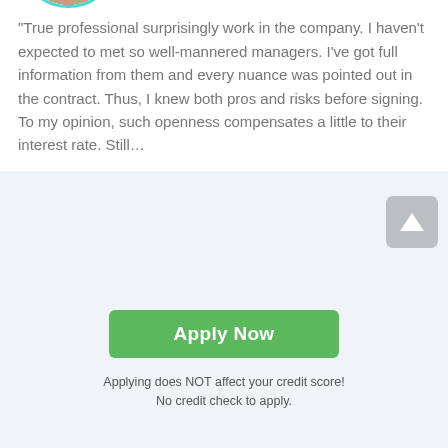[Figure (photo): Circular avatar photo of a young woman with brown hair, smiling, with teal/turquoise border]
3.3/5 star rating with 3 filled stars and 2 empty stars
“Straightforward platform to get cash almost instantly. Everything is clear, and I’ve got money fast, as a manager has promised. So, it’s a pleasure of dealing with responsible firms. No hidden fees, tricks, or something like that. Besides, they’ve never bombarded me with phone calls and emails. However, their extra fees might be lower, I guess, since they are at maximum for now.”
Verna of Villa Park, IL review 27 days ago
[Figure (photo): Circular avatar photo of a young woman with dark hair, smiling, with teal/turquoise border]
4.1/5 star rating with 4 filled stars and 1 empty star
“True professional surprisingly work in the company. I haven’t expected to met so well-mannered managers. I’ve got full information from them and every nuance was pointed out in the contract. Thus, I knew both pros and risks before signing. To my opinion, such openness compensates a little to their interest rate. Still…”
[Figure (other): Green Apply Now button overlay]
Applying does NOT affect your credit score!
No credit check to apply.